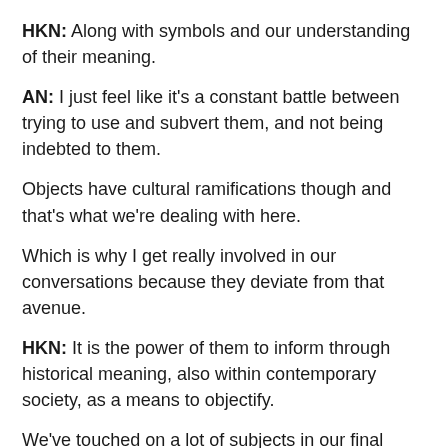HKN: Along with symbols and our understanding of their meaning.
AN: I just feel like it's a constant battle between trying to use and subvert them, and not being indebted to them.
Objects have cultural ramifications though and that's what we're dealing with here.
Which is why I get really involved in our conversations because they deviate from that avenue.
HKN: It is the power of them to inform through historical meaning, also within contemporary society, as a means to objectify.
We've touched on a lot of subjects in our final blog. As I reflect back on the past year I am now grateful for that angst at the beginning. As much as I didn't enjoy it, it is the continual forwards and backwards, the enquiry and the analysis that is so much a part of who we are as artists. It is ever present in our work and, sorry, not sorry,